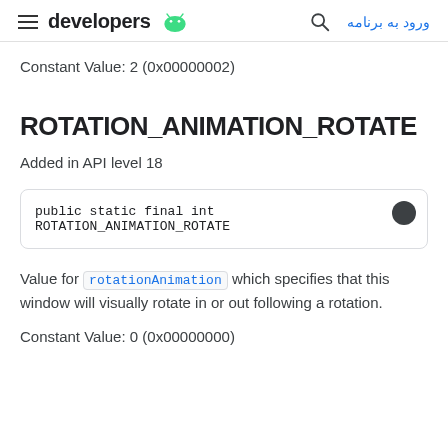developers | ورود به برنامه
Constant Value: 2 (0x00000002)
ROTATION_ANIMATION_ROTATE
Added in API level 18
public static final int ROTATION_ANIMATION_ROTATE
Value for rotationAnimation which specifies that this window will visually rotate in or out following a rotation.
Constant Value: 0 (0x00000000)